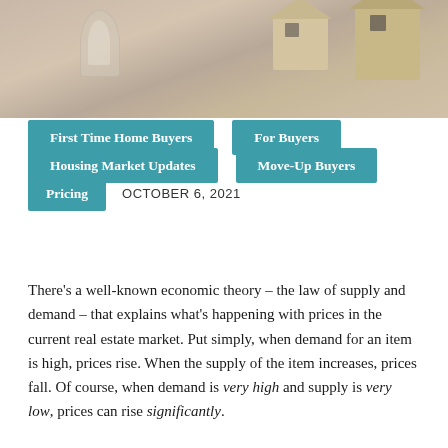[Figure (photo): Photo of glass light bulb and wooden house models on a wooden surface]
First Time Home Buyers
For Buyers
Housing Market Updates
Move-Up Buyers
Pricing
OCTOBER 6, 2021
There’s a well-known economic theory – the law of supply and demand – that explains what’s happening with prices in the current real estate market. Put simply, when demand for an item is high, prices rise. When the supply of the item increases, prices fall. Of course, when demand is very high and supply is very low, prices can rise significantly.